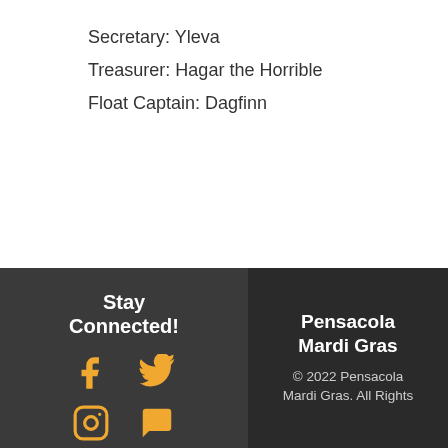Secretary: Yleva
Treasurer: Hagar the Horrible
Float Captain: Dagfinn
Stay Connected!
[Figure (illustration): Social media icons: Facebook, Twitter, Instagram, and a fourth icon in gold/orange color]
Pensacola Mardi Gras
© 2022 Pensacola Mardi Gras. All Rights